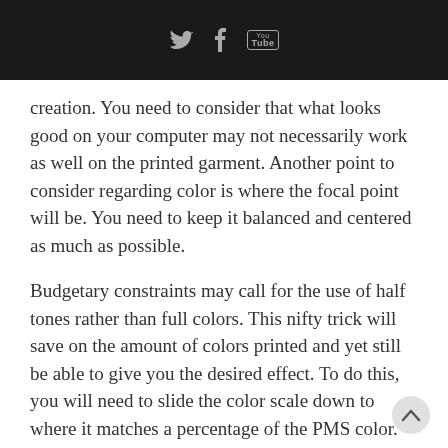[Twitter] [Facebook] [YouTube]
creation. You need to consider that what looks good on your computer may not necessarily work as well on the printed garment. Another point to consider regarding color is where the focal point will be. You need to keep it balanced and centered as much as possible.
Budgetary constraints may call for the use of half tones rather than full colors. This nifty trick will save on the amount of colors printed and yet still be able to give you the desired effect. To do this, you will need to slide the color scale down to where it matches a percentage of the PMS color. Changing your color from 100% to a softer 40% will then m your half tone. The colors used by the printer's